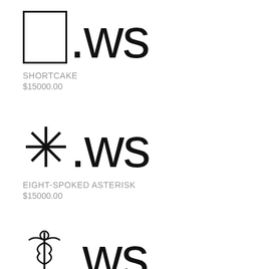[Figure (logo): Rectangle box symbol followed by .WS domain text]
SHORTCAKE
$15000.00
[Figure (logo): Eight-spoked asterisk symbol followed by .WS domain text]
EIGHT-SPOKED ASTERISK
$15000.00
[Figure (logo): Caduceus/staff symbol followed by .WS domain text (partially visible)]